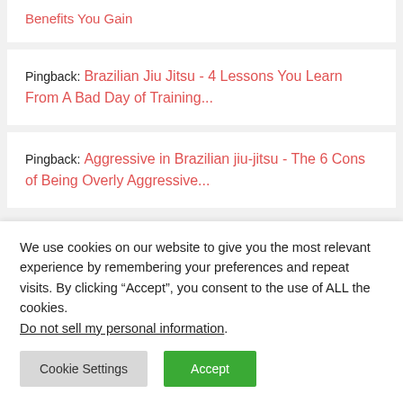Benefits You Gain
Pingback: Brazilian Jiu Jitsu - 4 Lessons You Learn From A Bad Day of Training...
Pingback: Aggressive in Brazilian jiu-jitsu - The 6 Cons of Being Overly Aggressive...
We use cookies on our website to give you the most relevant experience by remembering your preferences and repeat visits. By clicking “Accept”, you consent to the use of ALL the cookies.
Do not sell my personal information.